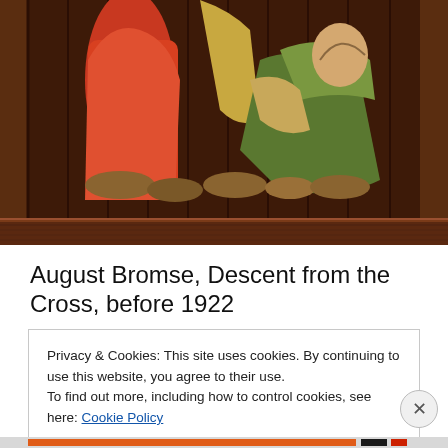[Figure (photo): A close-up photograph of a framed painting titled 'Descent from the Cross' by August Bromse, showing figures in red and green robes with religious iconography, painted before 1922.]
August Bromse, Descent from the Cross, before 1922
Privacy & Cookies: This site uses cookies. By continuing to use this website, you agree to their use.
To find out more, including how to control cookies, see here: Cookie Policy
Close and accept